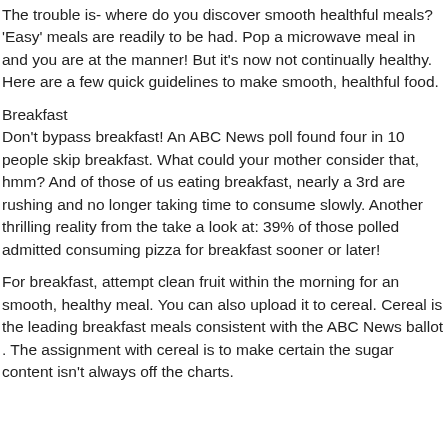The trouble is- where do you discover smooth healthful meals? 'Easy' meals are readily to be had. Pop a microwave meal in and you are at the manner! But it's now not continually healthy. Here are a few quick guidelines to make smooth, healthful food.
Breakfast
Don't bypass breakfast! An ABC News poll found four in 10 people skip breakfast. What could your mother consider that, hmm? And of those of us eating breakfast, nearly a 3rd are rushing and no longer taking time to consume slowly. Another thrilling reality from the take a look at: 39% of those polled admitted consuming pizza for breakfast sooner or later!
For breakfast, attempt clean fruit within the morning for an smooth, healthy meal. You can also upload it to cereal. Cereal is the leading breakfast meals consistent with the ABC News ballot . The assignment with cereal is to make certain the sugar content isn't always off the charts.